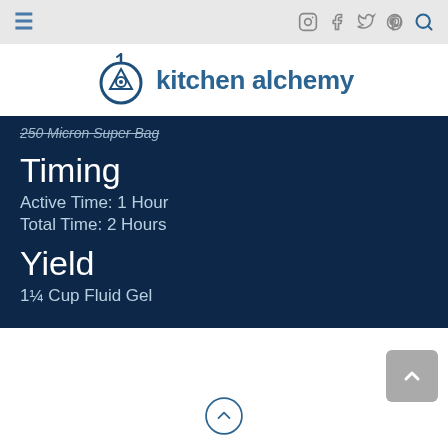kitchen alchemy — navigation bar with hamburger menu, Instagram, Facebook, Twitter, Pinterest, Search icons
[Figure (logo): Kitchen Alchemy logo: dark blue frying pan with triangle/eye symbol inside circle, followed by text 'kitchen alchemy' in dark blue]
250 Micron Super Bag
Timing
Active Time: 1 Hour
Total Time: 2 Hours
Yield
1¼ Cup Fluid Gel